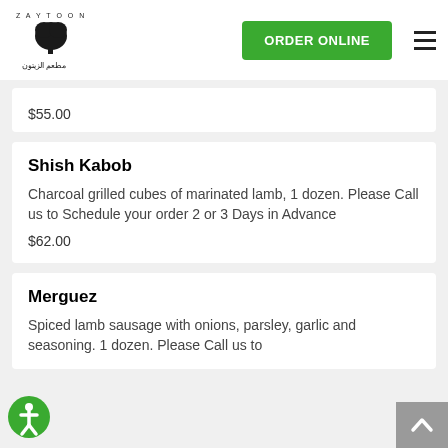Zaytoons - ORDER ONLINE
$55.00
Shish Kabob
Charcoal grilled cubes of marinated lamb, 1 dozen. Please Call us to Schedule your order 2 or 3 Days in Advance
$62.00
Merguez
Spiced lamb sausage with onions, parsley, garlic and seasoning. 1 dozen. Please Call us to